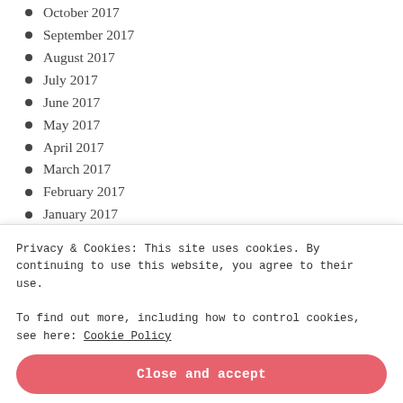October 2017
September 2017
August 2017
July 2017
June 2017
May 2017
April 2017
March 2017
February 2017
January 2017
December 2016
Privacy & Cookies: This site uses cookies. By continuing to use this website, you agree to their use.
To find out more, including how to control cookies, see here: Cookie Policy
Close and accept
June 2016